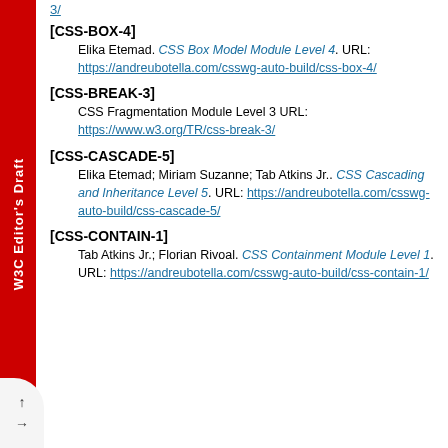3/
[CSS-BOX-4] Elika Etemad. CSS Box Model Module Level 4. URL: https://andreubotella.com/csswg-auto-build/css-box-4/
[CSS-BREAK-3] CSS Fragmentation Module Level 3 URL: https://www.w3.org/TR/css-break-3/
[CSS-CASCADE-5] Elika Etemad; Miriam Suzanne; Tab Atkins Jr.. CSS Cascading and Inheritance Level 5. URL: https://andreubotella.com/csswg-auto-build/css-cascade-5/
[CSS-CONTAIN-1] Tab Atkins Jr.; Florian Rivoal. CSS Containment Module Level 1. URL: https://andreubotella.com/csswg-auto-build/css-contain-1/